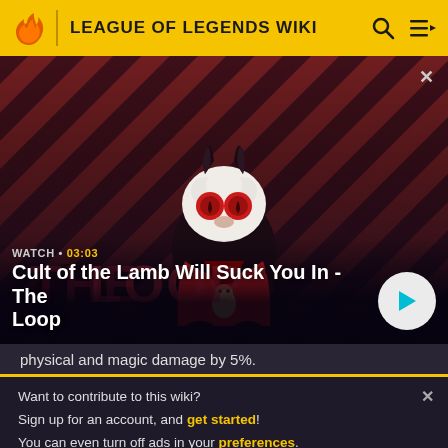LEAGUE OF LEGENDS WIKI
[Figure (screenshot): Video thumbnail showing animated character 'Cult of the Lamb' character on a diagonal red and dark stripe background with THE LOOP text overlay. Duration 03:03.]
Cult of the Lamb Will Suck You In - The Loop
physical and magic damage by 5%.
Want to contribute to this wiki? Sign up for an account, and get started! You can even turn off ads in your preferences.